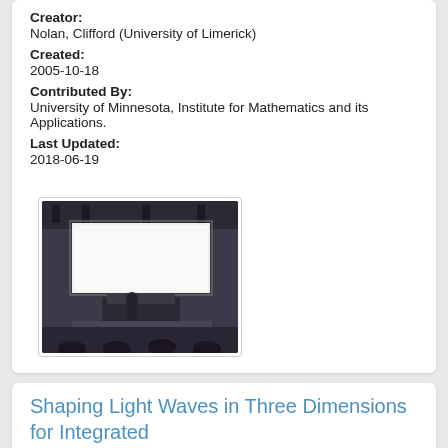Creator: Nolan, Clifford (University of Limerick)
Created: 2005-10-18
Contributed By: University of Minnesota, Institute for Mathematics and its Applications.
Last Updated: 2018-06-19
[Figure (photo): Thumbnail photo of a lecture hall or classroom with a whiteboard and equipment visible]
Shaping Light Waves in Three Dimensions for Integrated